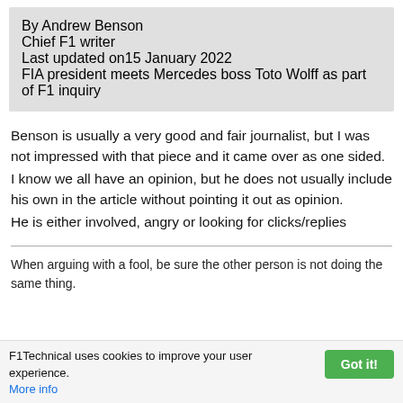By Andrew Benson
Chief F1 writer
Last updated on15 January 2022
FIA president meets Mercedes boss Toto Wolff as part of F1 inquiry
Benson is usually a very good and fair journalist, but I was not impressed with that piece and it came over as one sided.
I know we all have an opinion, but he does not usually include his own in the article without pointing it out as opinion.
He is either involved, angry or looking for clicks/replies
When arguing with a fool, be sure the other person is not doing the same thing.
F1Technical uses cookies to improve your user experience. More info